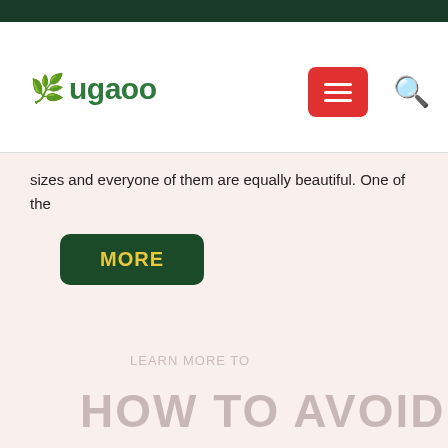Ugaoo
sizes and everyone of them are equally beautiful. One of the
MORE
LEARN MORE TO
HOW TO AVOID